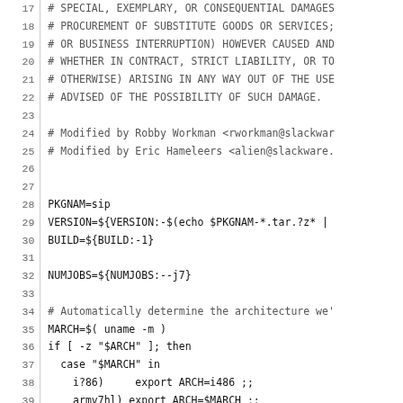Code listing lines 17-46 of a shell script (SlackBuild), showing license comment block, variable assignments (PKGNAM, VERSION, BUILD, NUMJOBS), architecture detection logic with case/if statements.